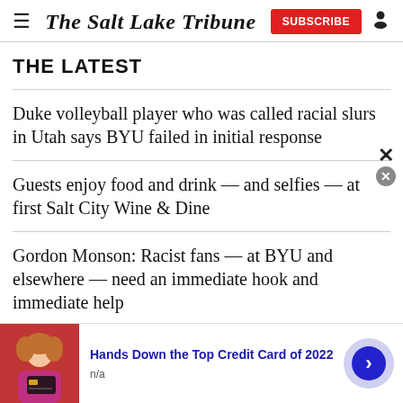The Salt Lake Tribune
THE LATEST
Duke volleyball player who was called racial slurs in Utah says BYU failed in initial response
Guests enjoy food and drink — and selfies — at first Salt City Wine & Dine
Gordon Monson: Racist fans — at BYU and elsewhere — need an immediate hook and immediate help
In a former FLDS enclave, a brewery becomes a conflict-free zone
[Figure (advertisement): Ad banner: Hands Down the Top Credit Card of 2022, n/a, with image of woman holding credit card and arrow button]